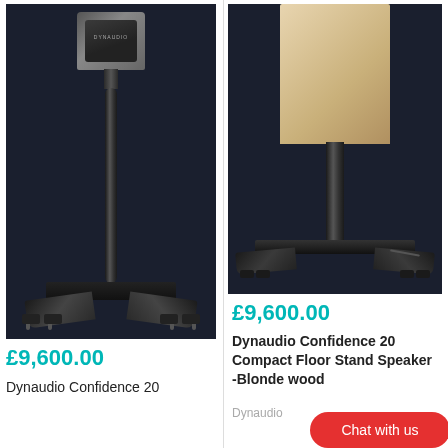[Figure (photo): Dynaudio Confidence 20 speaker on a black floor stand, photographed against a dark navy background. Full speaker and stand visible.]
£9,600.00
Dynaudio Confidence 20
[Figure (photo): Dynaudio Confidence 20 speaker in Blonde wood finish on a black floor stand, cropped showing lower portion of cabinet and stand base, against dark navy background.]
£9,600.00
Dynaudio Confidence 20 Compact Floor Stand Speaker -Blonde wood
Dynaudio
Chat with us